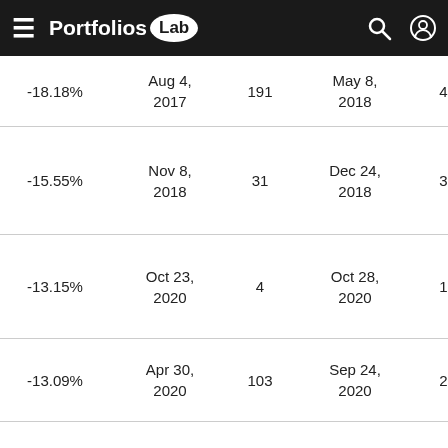Portfolios Lab
| Value | Start Date | Days | End Date | Days | Recovery Date |
| --- | --- | --- | --- | --- | --- |
| -18.18% | Aug 4, 2017 | 191 | May 8, 2018 | 41 | Jul ?, 201? |
| -15.55% | Nov 8, 2018 | 31 | Dec 24, 2018 | 36 | Feb 15, 201? |
| -13.15% | Oct 23, 2020 | 4 | Oct 28, 2020 | 12 | Nov 13, 202? |
| -13.09% | Apr 30, 2020 | 103 | Sep 24, 2020 | 20 | Oct ?, 202? |
| -11.51% | Jun 30, 2015 | 6 | Jul 8, 2015 | 23 | Aug 10, 201? |
| -8.63% | Dec 22, 2016 | 10 | Jan 6, 2017 | 13 | Jan ?, 201? |